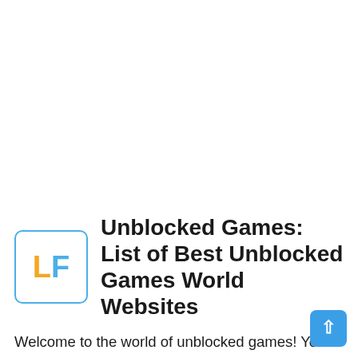Unblocked Games: List of Best Unblocked Games World Websites
Welcome to the world of unblocked games! You can play over 700 HTML5 and WebGL games from these